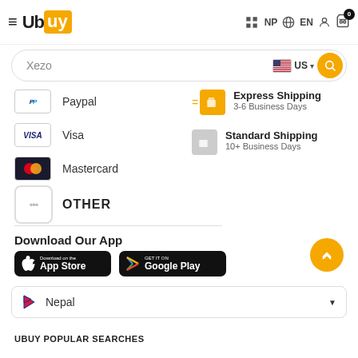[Figure (screenshot): Ubuy e-commerce website navigation bar with hamburger menu, Ubuy logo, NP country indicator, EN language selector, user icon, and cart with 0 items]
[Figure (screenshot): Search bar with text 'Xezo', US flag country selector, and orange search button]
Paypal
Express Shipping
3-6 Business Days
Visa
Standard Shipping
10+ Business Days
Mastercard
OTHER
Download Our App
[Figure (logo): App Store download badge]
[Figure (logo): Google Play download badge]
Nepal
UBUY POPULAR SEARCHES